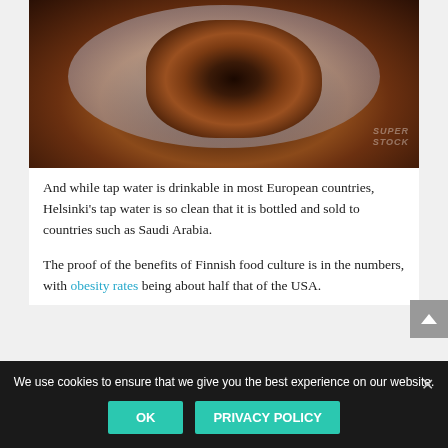[Figure (photo): Photograph of a gourmet meat dish on a white plate with vegetables and dark sauce, with a SuperStock watermark in the lower right corner.]
And while tap water is drinkable in most European countries, Helsinki's tap water is so clean that it is bottled and sold to countries such as Saudi Arabia.
The proof of the benefits of Finnish food culture is in the numbers, with obesity rates being about half that of the USA.
We use cookies to ensure that we give you the best experience on our website.